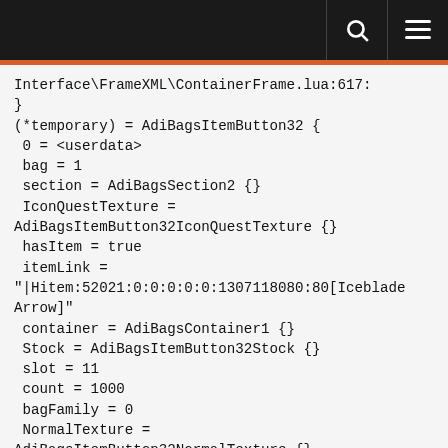Interface\FrameXML\ContainerFrame.lua:617:
}
(*temporary) = AdiBagsItemButton32 {
 0 = <userdata>
 bag = 1
 section = AdiBagsSection2 {}
 IconQuestTexture =
AdiBagsItemButton32IconQuestTexture {}
 hasItem = true
 itemLink =
"|Hitem:52021:0:0:0:0:0:1307118080:80[Iceblade
Arrow]"
 container = AdiBagsContainer1 {}
 Stock = AdiBagsItemButton32Stock {}
 slot = 11
 count = 1000
 bagFamily = 0
 NormalTexture =
AdiBagsItemButton32NormalTexture {}